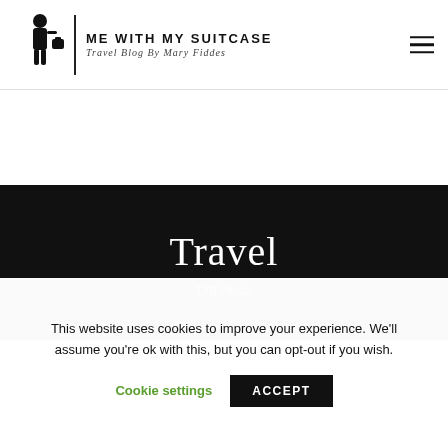Me With My Suitcase – Travel Blog By Mary Fiddes
Travel
178 Posts
This website uses cookies to improve your experience. We'll assume you're ok with this, but you can opt-out if you wish.
Cookie settings   ACCEPT